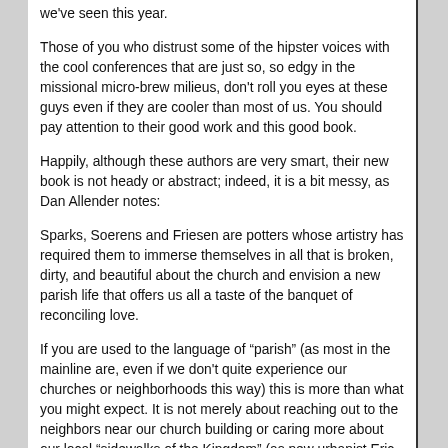we've seen this year.
Those of you who distrust some of the hipster voices with the cool conferences that are just so, so edgy in the missional micro-brew milieus, don't roll you eyes at these guys even if they are cooler than most of us. You should pay attention to their good work and this good book.
Happily, although these authors are very smart, their new book is not heady or abstract; indeed, it is a bit messy, as Dan Allender notes:
Sparks, Soerens and Friesen are potters whose artistry has required them to immerse themselves in all that is broken, dirty, and beautiful about the church and envision a new parish life that offers us all a taste of the banquet of reconciling love.
If you are used to the language of “parish” (as most in the mainline are, even if we don't quite experience our churches or neighborhoods this way) this is more than what you might expect. It is not merely about reaching out to the neighbors near our church building or caring more about our local “sidewalks of the Kingdom” (as new urbanist Eric Jacobsen says in his great book by that name.) The New Parish really is a proposal, almost a manifesto, at once practical and yet visionary, allusive and generative — not a new big plan or even a model. It is a new social imaginary, a